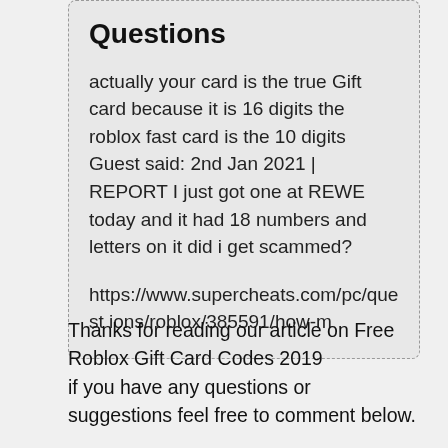Questions
actually your card is the true Gift card because it is 16 digits the roblox fast card is the 10 digits Guest said: 2nd Jan 2021 | REPORT I just got one at REWE today and it had 18 numbers and letters on it did i get scammed?
https://www.supercheats.com/pc/questions/roblox/385591/how-m
Thanks for reading our article on Free Roblox Gift Card Codes 2019 if you have any questions or suggestions feel free to comment below.